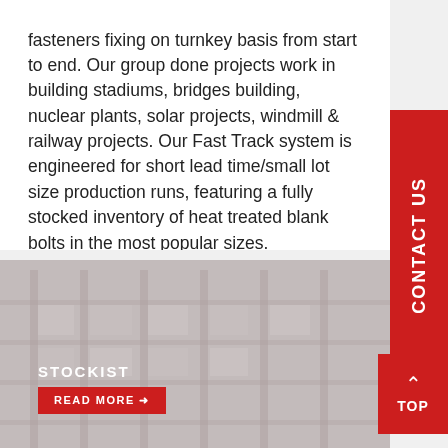fasteners fixing on turnkey basis from start to end. Our group done projects work in building stadiums, bridges building, nuclear plants, solar projects, windmill & railway projects. Our Fast Track system is engineered for short lead time/small lot size production runs, featuring a fully stocked inventory of heat treated blank bolts in the most popular sizes.
[Figure (photo): Warehouse/stockist facility interior with shelving and industrial equipment, appears muted/greyed out. Overlaid with text 'STOCKIST' and a red 'READ MORE' button.]